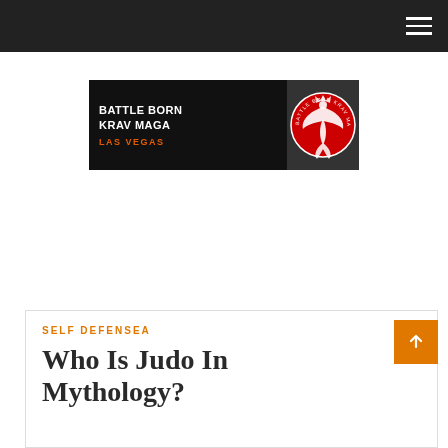Navigation header bar with hamburger menu
[Figure (logo): Battle Born Krav Maga Las Vegas advertisement banner with phoenix logo on dark background]
Self Defensea
Who Is Judo In Mythology?